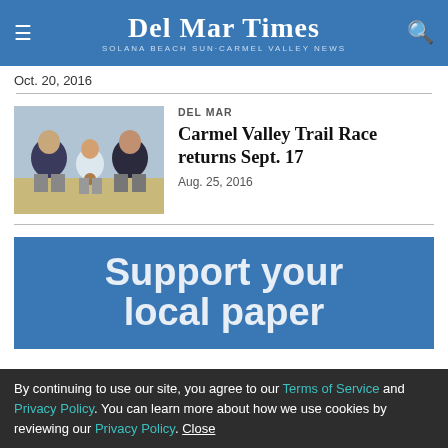Del Mar Times — Solana Beach Sun-Carmel Valley News
Oct. 20, 2016
DEL MAR
Carmel Valley Trail Race returns Sept. 17
Aug. 25, 2016
[Figure (photo): Three people sitting together, the middle one wearing a race medal]
Support your local paper
By continuing to use our site, you agree to our Terms of Service and Privacy Policy. You can learn more about how we use cookies by reviewing our Privacy Policy. Close